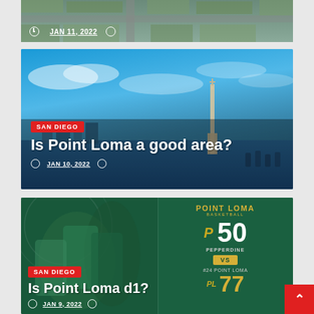[Figure (photo): Aerial view of suburban neighborhood, partial card at top. Shows date JAN 11, 2022.]
[Figure (photo): San Diego bay with Cabrillo National Monument statue against blue sky. Article card with SAN DIEGO tag and title 'Is Point Loma a good area?' dated JAN 10, 2022.]
[Figure (photo): Basketball game photo with Point Loma players celebrating. Scoreboard graphic shows Point Loma 77 vs Pepperdine 50. SAN DIEGO tag with title 'Is Point Loma d1?' dated JAN 9, 2022.]